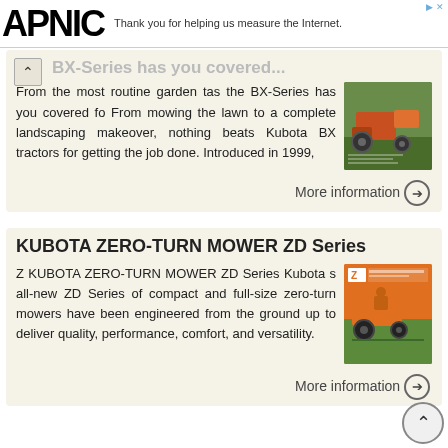APNIC — Thank you for helping us measure the Internet.
BX-Series has you covered ... From the most routine garden tas the BX-Series has you covered fo From mowing the lawn to a complete landscaping makeover, nothing beats Kubota BX tractors for getting the job done. Introduced in 1999,
More information
KUBOTA ZERO-TURN MOWER ZD Series
Z KUBOTA ZERO-TURN MOWER ZD Series Kubota s all-new ZD Series of compact and full-size zero-turn mowers have been engineered from the ground up to deliver quality, performance, comfort, and versatility.
More information